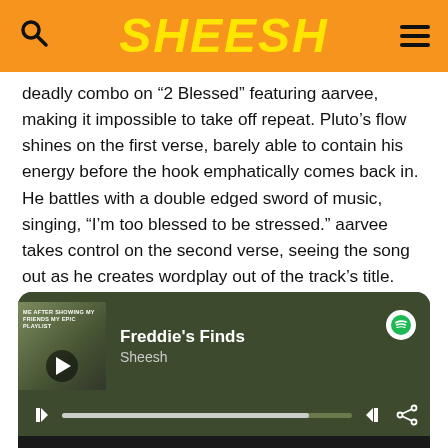SHEESH
deadly combo on “2 Blessed” featuring aarvee, making it impossible to take off repeat. Pluto’s flow shines on the first verse, barely able to contain his energy before the hook emphatically comes back in. He battles with a double edged sword of music, singing, “I’m too blessed to be stressed.” aarvee takes control on the second verse, seeing the song out as he creates wordplay out of the track’s title. Keep an eye out for “The” Pluto’s next project, coming soon.
[Figure (screenshot): Spotify playlist widget showing 'Freddie's Finds' playlist by Sheesh with tracklist including 'Secret (feat. Vince Staples)' by Raveena, Vince Staples (3:22) and 'Danny Phantom' (3:25)]